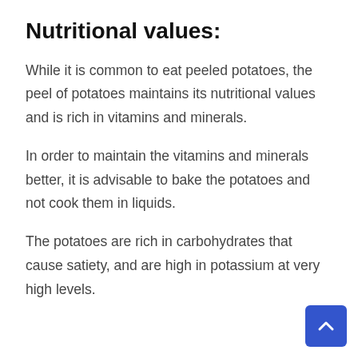Nutritional values:
While it is common to eat peeled potatoes, the peel of potatoes maintains its nutritional values and is rich in vitamins and minerals.
In order to maintain the vitamins and minerals better, it is advisable to bake the potatoes and not cook them in liquids.
The potatoes are rich in carbohydrates that cause satiety, and are high in potassium at very high levels.